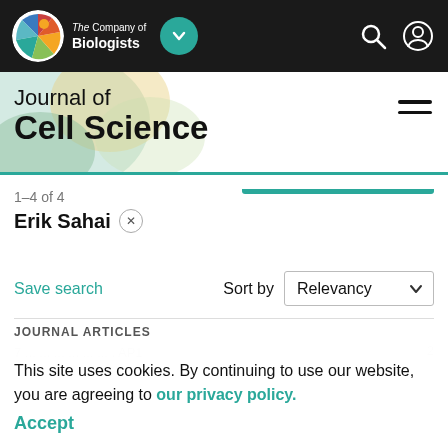[Figure (screenshot): The Company of Biologists navigation bar with logo, dropdown button, search icon, and user icon on dark background]
[Figure (logo): Journal of Cell Science header with colorful abstract background shapes and hamburger menu icon]
1–4 of 4
Erik Sahai ×
Modify your search
Save search
Sort by Relevancy
JOURNAL ARTICLES
This site uses cookies. By continuing to use our website, you are agreeing to our privacy policy. Accept